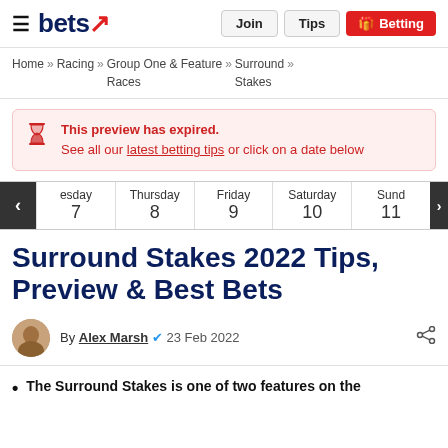bets — Join | Tips | Betting
Home » Racing » Group One & Feature Races » Surround Stakes »
This preview has expired. See all our latest betting tips or click on a date below
esday 7 | Thursday 8 | Friday 9 | Saturday 10 | Sund 11
Surround Stakes 2022 Tips, Preview & Best Bets
By Alex Marsh ✔ 23 Feb 2022
The Surround Stakes is one of two features on the